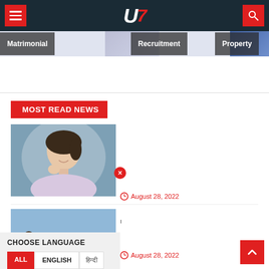U7 News website header with hamburger menu and search
[Figure (screenshot): Navigation tabs: Matrimonial, Recruitment, Property]
MOST READ NEWS
[Figure (photo): Smiling young woman with dark hair, portrait photo]
August 28, 2022
[Figure (photo): Couple and protest crowd photo]
August 28, 2022
[Figure (infographic): Choose Language overlay with ALL, ENGLISH, Hindi buttons and close button]
[Figure (other): Scroll to top arrow button (red)]